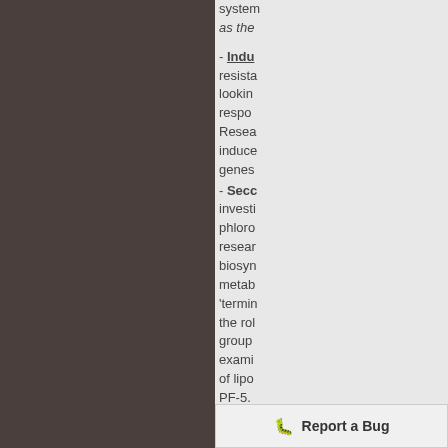system... as the...
- Indu... resistance... looking... response... Research... induced... genes...
- Secondary metabolites investigation... phloroglucinol... research... biosynthesis... metabolism... 'terminal'... the role... group... examining... of lipo... PF-5... system... produced... tetramic... previously... through...
Report a Bug